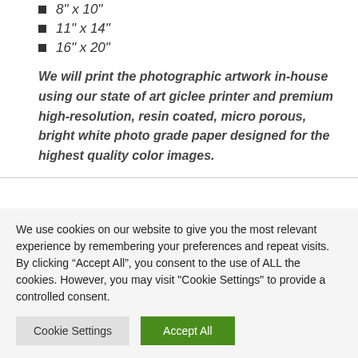8" x 10"
11" x 14"
16" x 20"
We will print the photographic artwork in-house using our state of art giclee printer and premium high-resolution, resin coated, micro porous, bright white photo grade paper designed for the highest quality color images.
We use cookies on our website to give you the most relevant experience by remembering your preferences and repeat visits. By clicking “Accept All”, you consent to the use of ALL the cookies. However, you may visit "Cookie Settings" to provide a controlled consent.